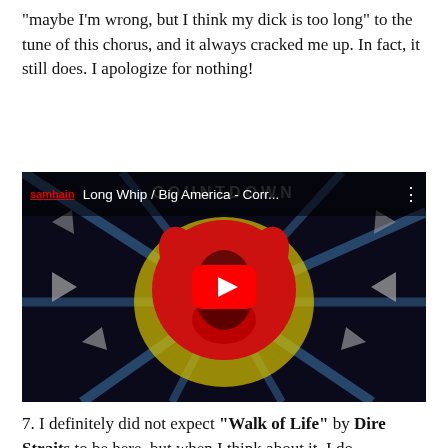“maybe I’m wrong, but I think my dick is too long” to the tune of this chorus, and it always cracked me up. In fact, it still does. I apologize for nothing!
[Figure (screenshot): YouTube video thumbnail for 'Long Whip / Big America - Corr...' by samhain channel. Shows album art with a red pig head illustration on dark background with geometric shapes. Red YouTube play button in center.]
7. I definitely did not expect “Walk of Life” by Dire Straits to be here, but when I think about it, I do remember a period of time where I was really into this song and “Why Worry Now”, both from their bajillion-